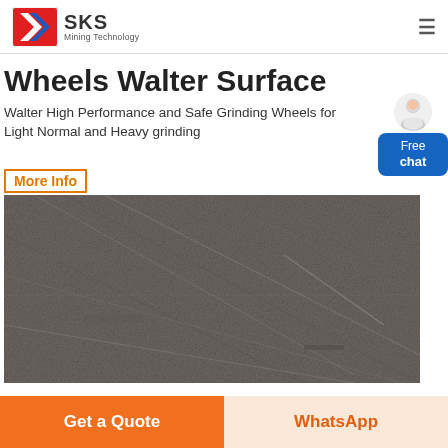SKS Mining Technology
Wheels Walter Surface
Walter High Performance and Safe Grinding Wheels for Light Normal and Heavy grinding
More Info
[Figure (photo): Close-up photo of a dark grey grinding wheel surface texture showing abrasive material]
Get a Quote
WhatsApp